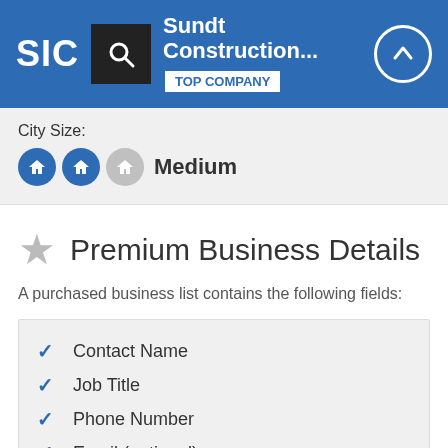SIC — Sundt Construction... TOP COMPANY
City Size:
Medium
★ Premium Business Details
A purchased business list contains the following fields:
Contact Name
Job Title
Phone Number
Email (optional)
Business Address
Mailing Address
Website